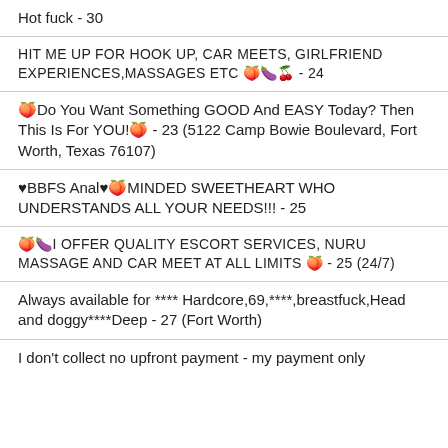Hot fuck - 30
HIT ME UP FOR HOOK UP, CAR MEETS, GIRLFRIEND EXPERIENCES,MASSAGES ETC 🍑🍆🍒 - 24
🍑Do You Want Something GOOD And EASY Today? Then This Is For YOU!🍑 - 23 (5122 Camp Bowie Boulevard, Fort Worth, Texas 76107)
♥BBFS Anal♥🍑MINDED SWEETHEART WHO UNDERSTANDS ALL YOUR NEEDS!!! - 25
🍑🍆I OFFER QUALITY ESCORT SERVICES, NURU MASSAGE AND CAR MEET AT ALL LIMITS 🍑 - 25 (24/7)
Always available for **** Hardcore,69,****,breastfuck,Head and doggy****Deep - 27 (Fort Worth)
I don't collect no upfront payment - my payment only